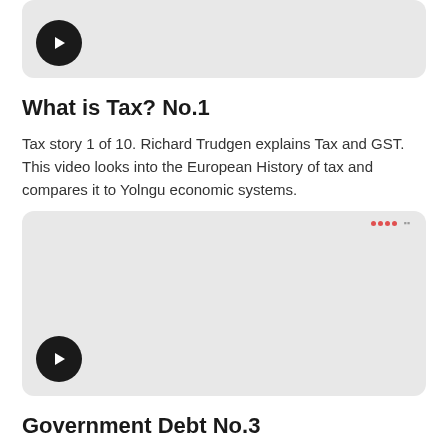[Figure (screenshot): Video thumbnail with play button, light grey background, rounded corners - top portion visible]
What is Tax? No.1
Tax story 1 of 10. Richard Trudgen explains Tax and GST. This video looks into the European History of tax and compares it to Yolngu economic systems.
[Figure (screenshot): Video thumbnail with play button, light grey background, rounded corners, small red dots and grey text in top right corner]
Government Debt No.3
Tax story 3 of 10. Do you want to know how laws for Tax are made and passed in the